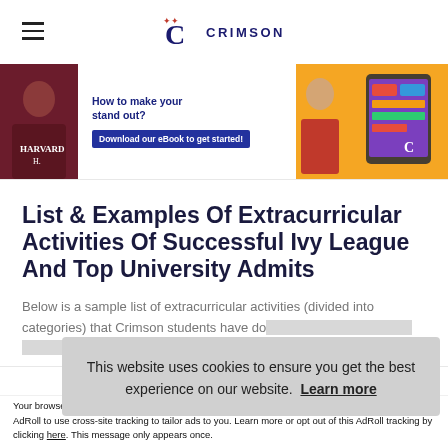CRIMSON (logo/navigation)
[Figure (screenshot): Crimson Education promotional banner showing a person in a Harvard hoodie on the left, text 'How to make your application stand out? Download our eBook to get started!' in the center, and a tablet/phone with colorful graphics on the right against an orange background.]
List & Examples Of Extracurricular Activities Of Successful Ivy League And Top University Admits
Below is a sample list of extracurricular activities (divided into categories) that Crimson students have do... to...
In... nnhh...
This website uses cookies to ensure you get the best experience on our website. Learn more
Accept and Close ✕
Your browser settings do not allow cross-site tracking for advertising. Click on this page to allow AdRoll to use cross-site tracking to tailor ads to you. Learn more or opt out of this AdRoll tracking by clicking here. This message only appears once.